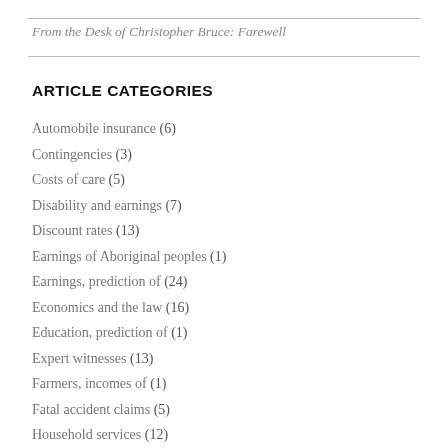From the Desk of Christopher Bruce: Farewell
ARTICLE CATEGORIES
Automobile insurance (6)
Contingencies (3)
Costs of care (5)
Disability and earnings (7)
Discount rates (13)
Earnings of Aboriginal peoples (1)
Earnings, prediction of (24)
Economics and the law (16)
Education, prediction of (1)
Expert witnesses (13)
Farmers, incomes of (1)
Fatal accident claims (5)
Household services (12)